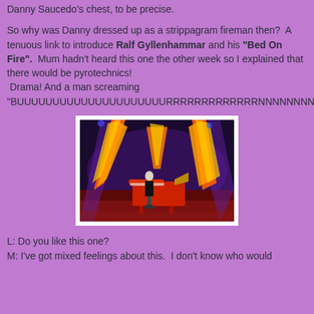Danny Saucedo's chest, to be precise.
So why was Danny dressed up as a strippagram fireman then?  A tenuous link to introduce Ralf Gyllenhammar and his "Bed On Fire".  Mum hadn't heard this one the other week so I explained that there would be pyrotechnics!  Drama! And a man screaming "BUUUUUUUUUUUUUUUUUUUUURRRRRRRRRRRRRNNNNNNNNNNN!!!"
[Figure (photo): A performer at a piano on stage surrounded by dramatic pyrotechnic fire effects with purple/red stage lighting]
L: Do you like this one?
M: I've got mixed feelings about this.  I don't know who would